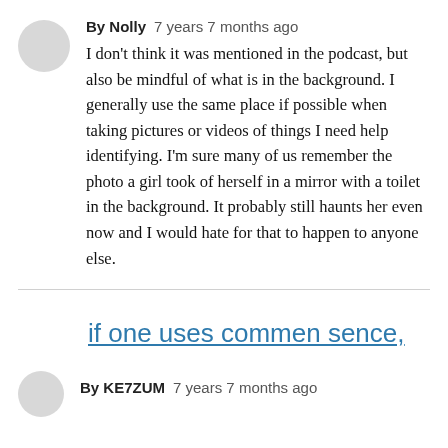By Nolly   7 years 7 months ago
I don't think it was mentioned in the podcast, but also be mindful of what is in the background. I generally use the same place if possible when taking pictures or videos of things I need help identifying. I'm sure many of us remember the photo a girl took of herself in a mirror with a toilet in the background. It probably still haunts her even now and I would hate for that to happen to anyone else.
if one uses commen sence,
By KE7ZUM   7 years 7 months ago